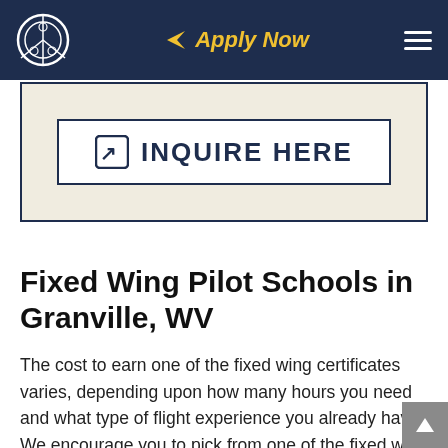Apply Now
[Figure (screenshot): INQUIRE HERE button with share icon on beige background with navy border]
Fixed Wing Pilot Schools in Granville, WV
The cost to earn one of the fixed wing certificates varies, depending upon how many hours you need and what type of flight experience you already have. We encourage you to pick from one of the fixed wing pilot schools in Granville, WV, if unable to relocate, that will work with you to develop a custom school program